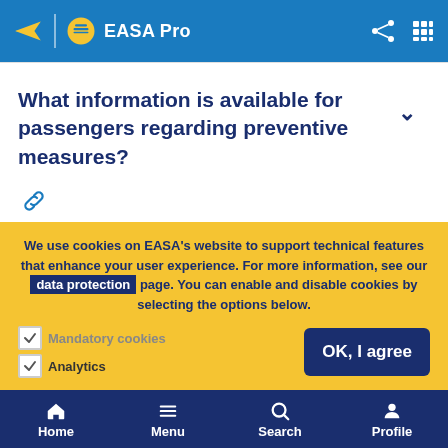EASA Pro
What information is available for passengers regarding preventive measures?
We use cookies on EASA's website to support technical features that enhance your user experience. For more information, see our data protection page. You can enable and disable cookies by selecting the options below.
Mandatory cookies
Analytics
OK, I agree
Home  Menu  Search  Profile